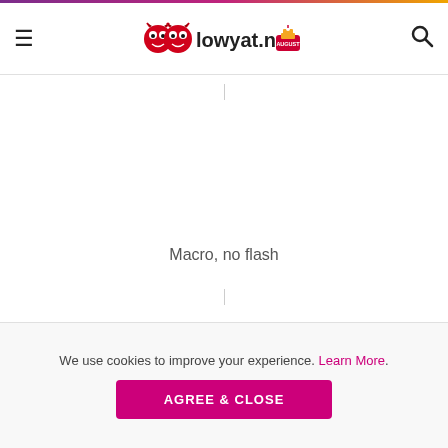lowyat.net
[Figure (photo): Large image area (mostly blank/white) above caption, part of article content]
Macro, no flash
[Figure (photo): Second image placeholder area below caption]
We use cookies to improve your experience. Learn More.
AGREE & CLOSE